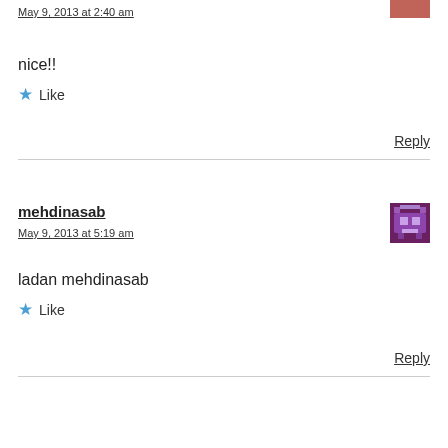May 9, 2013 at 2:40 am
nice!!
Like
Reply
mehdinasab
May 9, 2013 at 5:19 am
ladan mehdinasab
Like
Reply